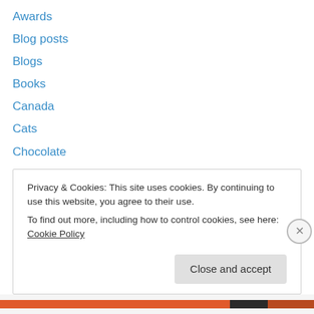Awards
Blog posts
Blogs
Books
Canada
Cats
Chocolate
Christmas
Chronic Conditions
Cooking
COVID-19
Doctor Who
ebooks
Privacy & Cookies: This site uses cookies. By continuing to use this website, you agree to their use.
To find out more, including how to control cookies, see here: Cookie Policy
Close and accept